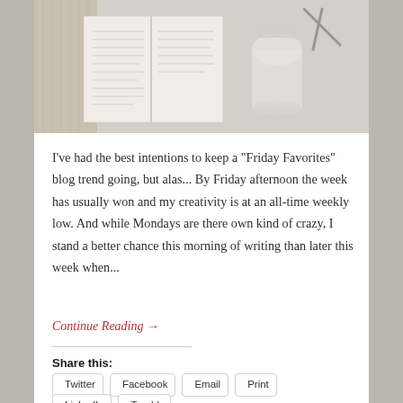[Figure (photo): Overhead photo of an open book/journal and a glass jar on a light fabric background]
I've had the best intentions to keep a "Friday Favorites" blog trend going, but alas... By Friday afternoon the week has usually won and my creativity is at an all-time weekly low. And while Mondays are there own kind of crazy, I stand a better chance this morning of writing than later this week when...
Continue Reading →
Share this:
Twitter
Facebook
Email
Print
LinkedIn
Tumblr
Loading...